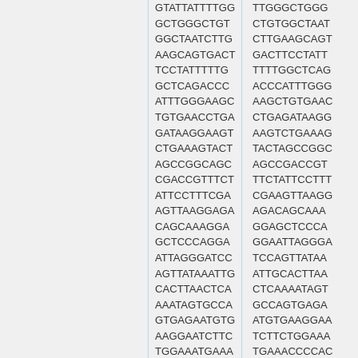GTATTATTTTGG GCTGGGCTGT GGCTAATCTTG AAGCAGTGACT TCCTATTTTTG GCTCAGACCC ATTTGGGAAGC TGTGAACCTGA GATAAGGAAGT CTGAAAGTACT AGCCGGCAGC CGACCGTTTCT ATTCCTTTCGA AGTTAAGGAGA CAGCAAAGGA GCTCCCAGGA ATTAGGGATCC AGTTATAAATTG CACTTAACTCA AAATAGTGCCA GTGAGAATGTG AAGGAATCTTC TGGAAATGAAA
TTGGGCTGGG CTGTGGCTAAT CTTGAAGCAGT GACTTCCTATT TTTTGGCTCAG ACCCATTTGGG AAGCTGTGAAC CTGAGATAAGG AAGTCTGAAAG TACTAGCCGGC AGCCGACCGT TTCTATTCCTTT CGAAGTTAAGG AGACAGCAAA GGAGCTCCCA GGAATTAGGGA TCCAGTTATAA ATTGCACTTAA CTCAAAATAGT GCCAGTGAGA ATGTGAAGGAA TCTTCTGGAAA TGAAACCCCAC